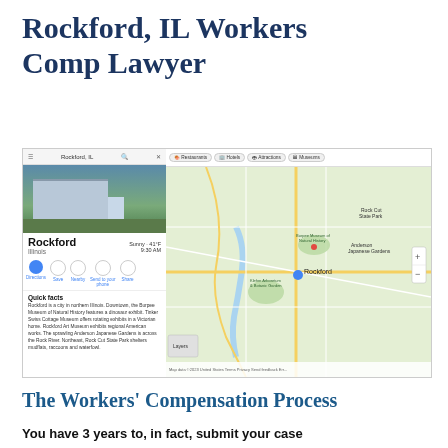Rockford, IL Workers Comp Lawyer
[Figure (screenshot): Google Maps screenshot showing Rockford, IL with left panel displaying city info, photo of building, weather (Sunny 41°F, 9:30 AM), navigation icons (Directions, Save, Nearby, Send to your phone, Share), Quick facts section with description text, and right side showing interactive map of Rockford area with restaurant/hotel/attraction/museum filter tags at top.]
The Workers' Compensation Process
You have 3 years to, in fact, submit your case